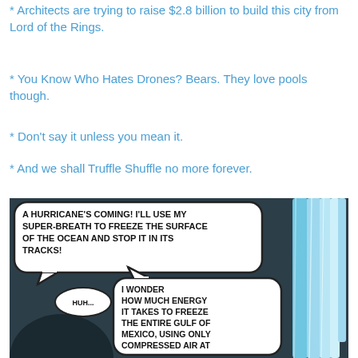* Architects are trying to raise $2.8 billion to build this city from Lord of the Rings.
* You Know Who Hates Drones? Bears. They love pools though.
* Don't say it unless you mean it.
* And we shall Truffle Shuffle no more forever.
[Figure (illustration): Comic strip panel showing Superman thinking about using his super-breath to freeze the ocean to stop a hurricane. Speech bubble reads: 'A HURRICANE'S COMING! I'LL USE MY SUPER-BREATH TO FREEZE THE SURFACE OF THE OCEAN AND STOP IT IN ITS TRACKS!' A smaller bubble says 'HUH...' and another bubble reads 'I WONDER HOW MUCH ENERGY IT TAKES TO FREEZE THE ENTIRE GULF OF MEXICO, USING ONLY COMPRESSED AIR AT...' with ice imagery on the right side.]